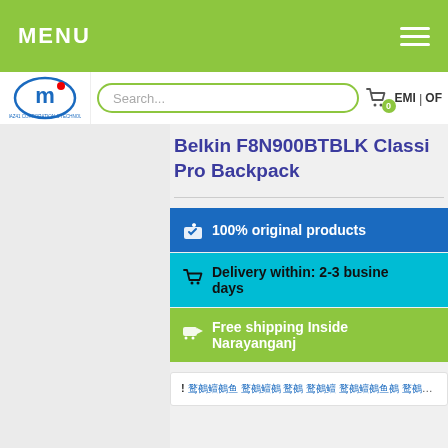MENU
[Figure (logo): M logo with red dot and text 'MINHAZ41 CORPORATION & TECHNOLOGY']
Belkin F8N900BTBLK Classi Pro Backpack
100% original products
Delivery within: 2-3 business days
Free shipping Inside Narayanganj
! (Bangla text links)